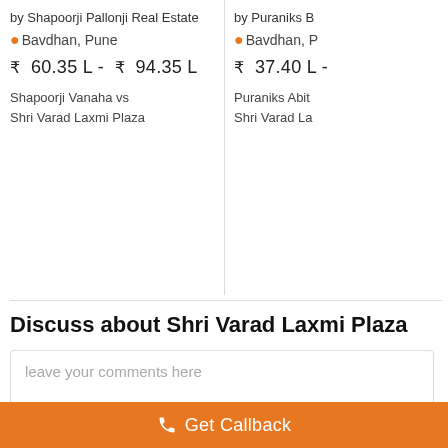by Shapoorji Pallonji Real Estate
Bavdhan, Pune
₹ 60.35 L - ₹ 94.35 L
Shapoorji Vanaha vs
Shri Varad Laxmi Plaza
by Puraniks B
Bavdhan, P
₹ 37.40 L -
Puraniks Abit
Shri Varad La
Discuss about Shri Varad Laxmi Plaza
leave your comments here
comment
Get Callback